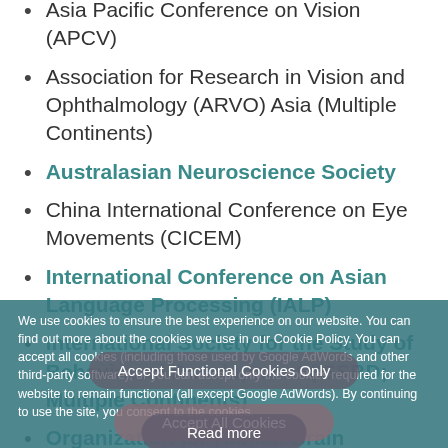Asia Pacific Conference on Vision (APCV)
Association for Research in Vision and Ophthalmology (ARVO) Asia (Multiple Continents)
Australasian Neuroscience Society
China International Conference on Eye Movements (CICEM)
International Conference on Asian Language Processing (IALP)
International Society for the Study of Behavioural Development (ISSBD; Multiple Continents)
Organization for Human Brain Mapping (OHBM; Multiple Continents)
Society for the Neural Control of Movement (Multiple Continents)
We use cookies to ensure the best experience on our website. You can find out more about the cookies we use in our Cookie Policy. You can accept all cookies (including those used by Google AdWords and other third-party software), or you can accept only the cookies required for the website to remain functional (all except Google AdWords). By continuing to use the site, you consent to the cookies.
Accept All Cookies
Accept Functional Cookies Only
Read more